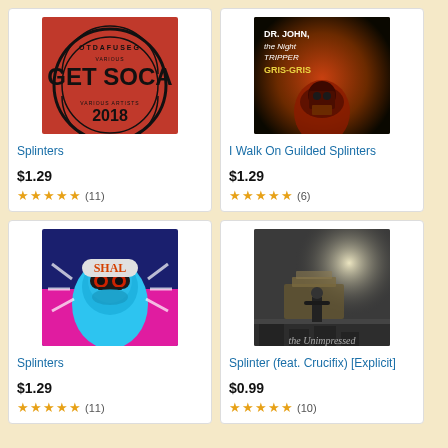[Figure (illustration): Album art for Splinters - red background with circular stamp design reading GET SOCA 2018]
Splinters
$1.29
★★★★★ (11)
[Figure (illustration): Album art for I Walk On Guilded Splinters - Dr. John The Night Tripper GRIS-GRIS album cover, dark moody photo of person in hat]
I Walk On Guilded Splinters
$1.29
★★★★★ (6)
[Figure (illustration): Album art for Splinters by Shal Marshall - blue and pink graphic illustration of person with sunglasses and open mouth]
Splinters
$1.29
★★★★★ (11)
[Figure (photo): Album art for Splinter (feat. Crucifix) [Explicit] - black and white gritty photo of person standing amid rubble]
Splinter (feat. Crucifix) [Explicit]
$0.99
★★★★★ (10)